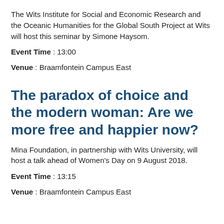The Wits Institute for Social and Economic Research and the Oceanic Humanities for the Global South Project at Wits will host this seminar by Simone Haysom.
Event Time : 13:00
Venue : Braamfontein Campus East
The paradox of choice and the modern woman: Are we more free and happier now?
Mina Foundation, in partnership with Wits University, will host a talk ahead of Women's Day on 9 August 2018.
Event Time : 13:15
Venue : Braamfontein Campus East